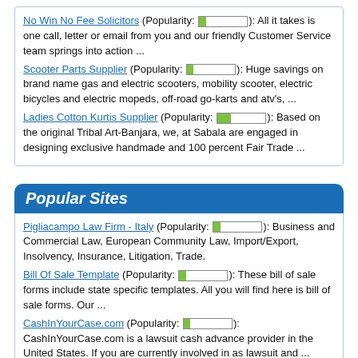No Win No Fee Solicitors (Popularity: 1/7): All it takes is one call, letter or email from you and our friendly Customer Service team springs into action ...
Scooter Parts Supplier (Popularity: 1/7): Huge savings on brand name gas and electric scooters, mobility scooter, electric bicycles and electric mopeds, off-road go-karts and atv's, ...
Ladies Cotton Kurtis Supplier (Popularity: 2/7): Based on the original Tribal Art-Banjara, we, at Sabala are engaged in designing exclusive handmade and 100 percent Fair Trade ...
Popular Sites
Pigliacampo Law Firm - Italy (Popularity: 1/7): Business and Commercial Law, European Community Law, Import/Export, Insolvency, Insurance, Litigation, Trade.
Bill Of Sale Template (Popularity: 1/7): These bill of sale forms include state specific templates. All you will find here is bill of sale forms. Our ...
CashInYourCase.com (Popularity: 1/7): CashInYourCase.com is a lawsuit cash advance provider in the United States. If you are currently involved in as lawsuit and ...
Outsourcing research from ValueNotes (Popularity: 1/7): The ValueNotes Outsourcing Practice, a business division of ValueNotes, is dedicated to researching the outsourcing industry. The Practice has been ...
San Diego Personal Injury Law Firm (Popularity: 1/7): We provide aggressive legal representation on a contingency fee basis to injured persons and their families. This means no fees ...
Related Press